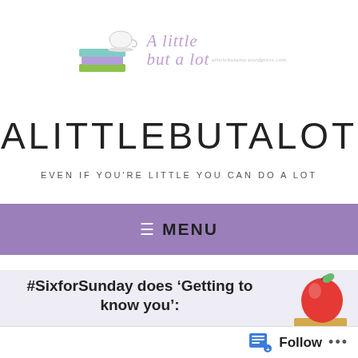[Figure (logo): Blog logo: stacked books with teacup illustration beside script text reading 'A little but a lot' with small tagline]
ALITTLEBUTALOT
EVEN IF YOU'RE LITTLE YOU CAN DO A LOT
≡  MENU
#SixforSunday does 'Getting to know you':
Books people
[Figure (illustration): Red apple sitting on top of stacked books illustration]
Follow  •••